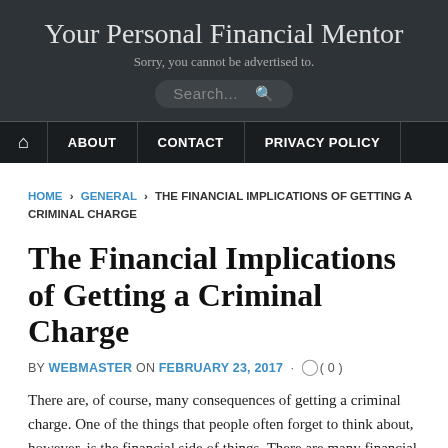Your Personal Financial Mentor
Sorry, you cannot be advertised to.
The Financial Implications of Getting a Criminal Charge
BY WEBMASTER ON FEBRUARY 23, 2017 · ( 0 )
There are, of course, many consequences of getting a criminal charge. One of the things that people often forget to think about, however, is the financial side of things. There are many financial